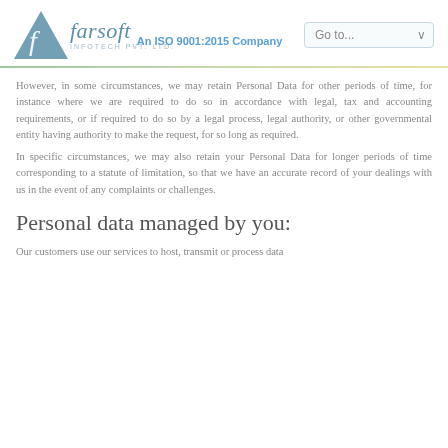Farsoft Infotech Pvt. Ltd. — An ISO 9001:2015 Company
However, in some circumstances, we may retain Personal Data for other periods of time, for instance where we are required to do so in accordance with legal, tax and accounting requirements, or if required to do so by a legal process, legal authority, or other governmental entity having authority to make the request, for so long as required.
In specific circumstances, we may also retain your Personal Data for longer periods of time corresponding to a statute of limitation, so that we have an accurate record of your dealings with us in the event of any complaints or challenges.
Personal data managed by you:
Our customers use our services to host, transmit or process data